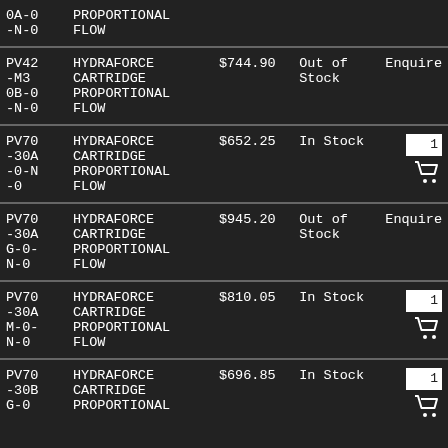| SKU | Name | Price | Stock | Action |
| --- | --- | --- | --- | --- |
| 0A-0
-N-0 | PROPORTIONAL
FLOW |  |  |  |
| PV42
-M3
0B-0
-N-0 | HYDRAFORCE
CARTRIDGE
PROPORTIONAL
FLOW | $744.90 | Out of
Stock | Enquire |
| PV70
-30A
-0-N
-0 | HYDRAFORCE
CARTRIDGE
PROPORTIONAL
FLOW | $652.25 | In Stock | 1 [cart] |
| PV70
-30A
G-0-
N-0 | HYDRAFORCE
CARTRIDGE
PROPORTIONAL
FLOW | $945.20 | Out of
Stock | Enquire |
| PV70
-30A
M-0-
N-0 | HYDRAFORCE
CARTRIDGE
PROPORTIONAL
FLOW | $810.05 | In Stock | 1 [cart] |
| PV70
-30B
G-0 | HYDRAFORCE
CARTRIDGE
PROPORTIONAL | $696.85 | In Stock | 1 [cart] |